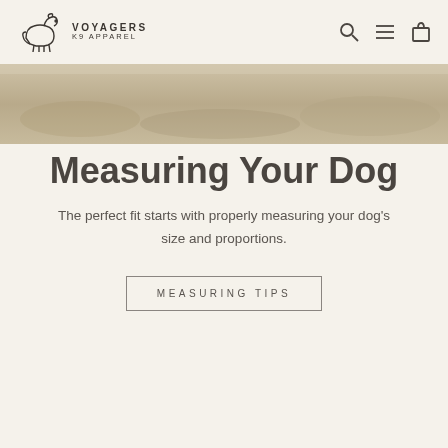VOYAGERS K9 APPAREL
[Figure (photo): Outdoor nature/grass background banner image in muted tan and beige tones]
Measuring Your Dog
The perfect fit starts with properly measuring your dog's size and proportions.
MEASURING TIPS